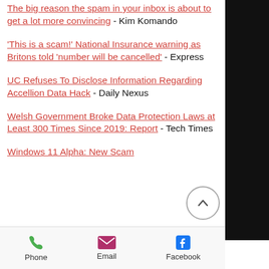The big reason the spam in your inbox is about to get a lot more convincing - Kim Komando
'This is a scam!' National Insurance warning as Britons told 'number will be cancelled' - Express
UC Refuses To Disclose Information Regarding Accellion Data Hack - Daily Nexus
Welsh Government Broke Data Protection Laws at Least 300 Times Since 2019: Report - Tech Times
Windows 11 Alpha: New Scam
Phone   Email   Facebook